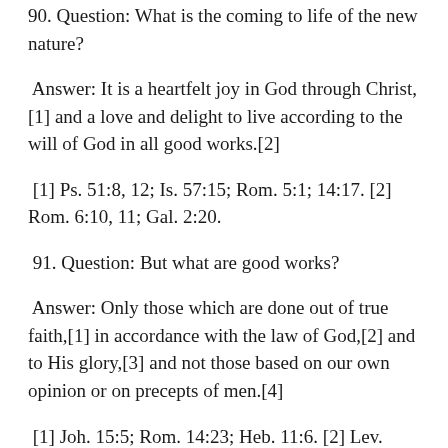90. Question: What is the coming to life of the new nature?
Answer: It is a heartfelt joy in God through Christ,[1] and a love and delight to live according to the will of God in all good works.[2]
[1] Ps. 51:8, 12; Is. 57:15; Rom. 5:1; 14:17. [2] Rom. 6:10, 11; Gal. 2:20.
91. Question: But what are good works?
Answer: Only those which are done out of true faith,[1] in accordance with the law of God,[2] and to His glory,[3] and not those based on our own opinion or on precepts of men.[4]
[1] Joh. 15:5; Rom. 14:23; Heb. 11:6. [2] Lev. 18:4; I Sam.